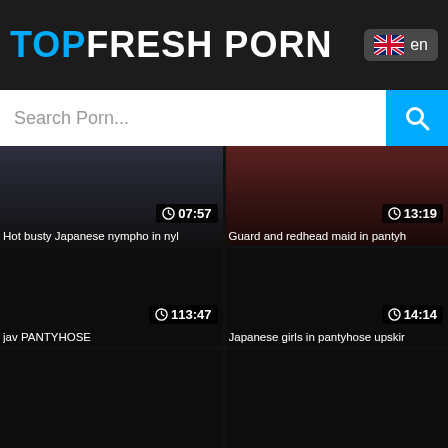TOPFRESH PORN
Search Porn...
[Figure (screenshot): Video thumbnail: Hot busty Japanese nympho in nyl - duration 07:57]
Hot busty Japanese nympho in nyl
[Figure (screenshot): Video thumbnail: Guard and redhead maid in pantyh - duration 13:19]
Guard and redhead maid in pantyh
[Figure (screenshot): Video thumbnail: jav PANTYHOSE - duration 113:47]
jav PANTYHOSE
[Figure (screenshot): Video thumbnail: Japanese girls in pantyhose upskir - duration 14:14]
Japanese girls in pantyhose upskir
[Figure (screenshot): Video thumbnail: dark/loading - bottom left]
[Figure (screenshot): Video thumbnail: dark/loading - bottom right]